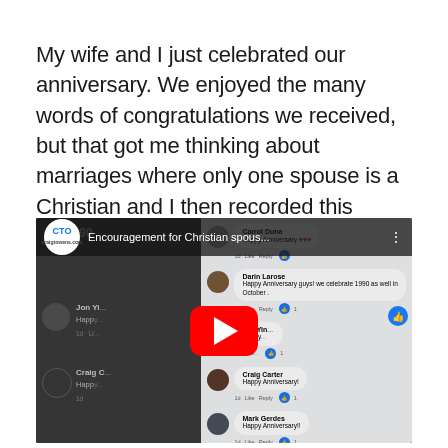My wife and I just celebrated our anniversary. We enjoyed the many words of congratulations we received, but that got me thinking about marriages where only one spouse is a Christian and I then recorded this thought—
[Figure (screenshot): YouTube video thumbnail showing a Facebook post with anniversary congratulations comments. The video is titled 'Encouragement for Christian spous...' with a CTO (craigtowens.com) channel logo. A red YouTube play button is overlaid in the center. The background shows a Facebook comments section with names like Darin Larose, Jon Yin, Craig Carter, Mark Gerdes, and Sally A Howland all posting 'Happy Anniversary' messages.]